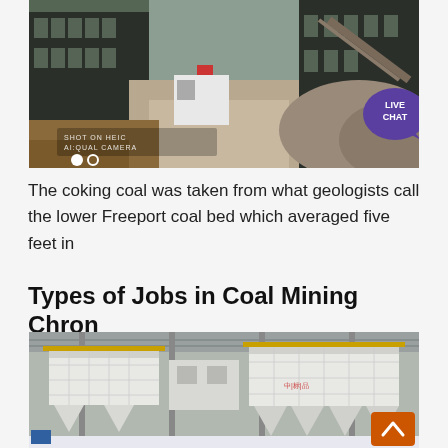[Figure (photo): Aerial view of a coal mining facility with dark industrial buildings, dirt paths, yellow construction equipment, and a rocky hillside.]
The coking coal was taken from what geologists call the lower Freeport coal bed which averaged five feet in
Types of Jobs in Coal Mining Chron
[Figure (photo): Interior of an industrial coal processing facility showing large white hopper/silo structures with yellow railings under a metal roof.]